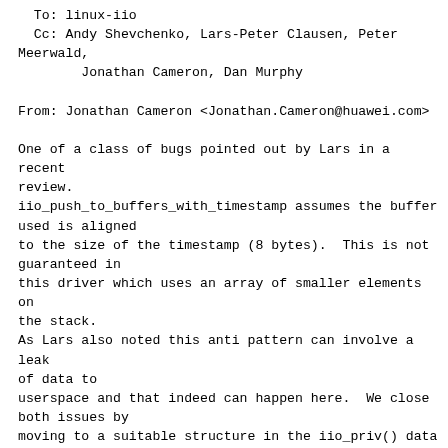To: linux-iio
  Cc: Andy Shevchenko, Lars-Peter Clausen, Peter Meerwald,
        Jonathan Cameron, Dan Murphy

From: Jonathan Cameron <Jonathan.Cameron@huawei.com>

One of a class of bugs pointed out by Lars in a recent review.
iio_push_to_buffers_with_timestamp assumes the buffer used is aligned
to the size of the timestamp (8 bytes).  This is not guaranteed in
this driver which uses an array of smaller elements on the stack.
As Lars also noted this anti pattern can involve a leak of data to
userspace and that indeed can happen here.  We close both issues by
moving to a suitable structure in the iio_priv() data with alignment
explicitly requested.  This data is allocated with kzalloc so no
data can leak apart from previous readings.

In this driver the timestamp can end up in various different locations
depending on what other channels are enabled.  As a result, we don't
use a structure to specify it's position as that would